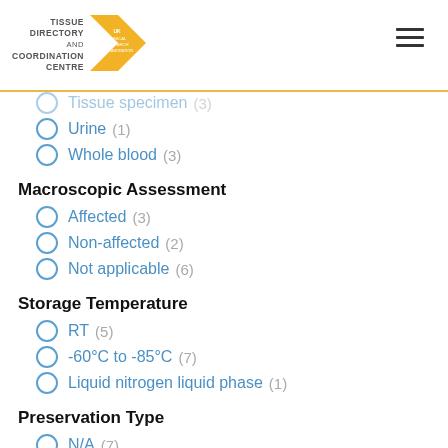[Figure (logo): Tissue Directory and Coordination Centre logo with UK Clinical Research Collaboration arrow badge]
Tissue specimen (3)
Urine (1)
Whole blood (3)
Macroscopic Assessment
Affected (3)
Non-affected (2)
Not applicable (6)
Storage Temperature
RT (5)
-60°C to -85°C (7)
Liquid nitrogen liquid phase (1)
Preservation Type
N/A (7)